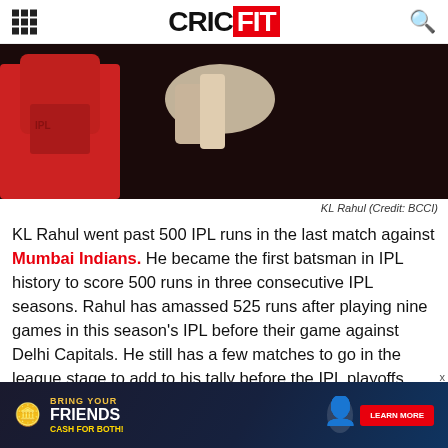CRICFIT
[Figure (photo): KL Rahul in red cricket jersey holding bat with batting glove visible, dark background]
KL Rahul (Credit: BCCI)
KL Rahul went past 500 IPL runs in the last match against Mumbai Indians. He became the first batsman in IPL history to score 500 runs in three consecutive IPL seasons. Rahul has amassed 525 runs after playing nine games in this season's IPL before their game against Delhi Capitals. He still has a few matches to go in the league stage to add to his tally before the IPL playoffs. Former Indian skipper Sunil Gavaskar decoded his good run of form in this season
[Figure (infographic): Advertisement banner: Bring your friends, cash for both. Learn more button.]